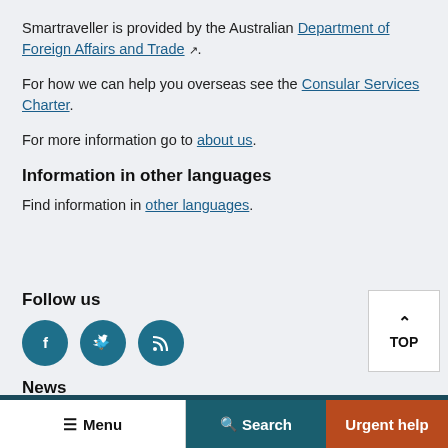Smartraveller is provided by the Australian Department of Foreign Affairs and Trade.
For how we can help you overseas see the Consular Services Charter.
For more information go to about us.
Information in other languages
Find information in other languages.
Follow us
[Figure (infographic): Three teal social media icon circles: Facebook (f), Twitter (bird), RSS (signal waves)]
News
Share this:
[Figure (infographic): Share icons: print, email, facebook, twitter in dark circles on teal bar]
Menu
Search
Urgent help